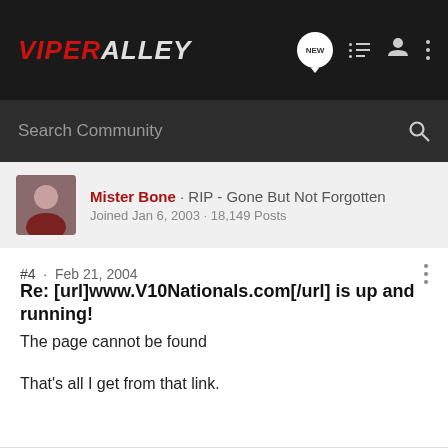ViperAlley
Search Community
Mister Bone · RIP - Gone But Not Forgotten
Joined Jan 6, 2003 · 18,149 Posts
#4 · Feb 21, 2004
Re: [url]www.V10Nationals.com[/url] is up and running!
The page cannot be found
That's all I get from that link.